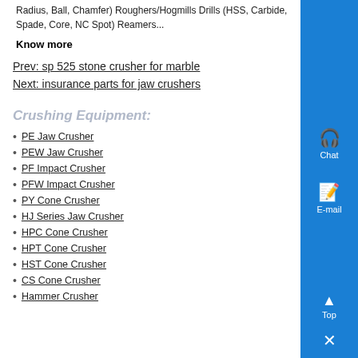Radius, Ball, Chamfer) Roughers/Hogmills Drills (HSS, Carbide, Spade, Core, NC Spot) Reamers...
Know more
Prev: sp 525 stone crusher for marble
Next: insurance parts for jaw crushers
Crushing Equipment:
PE Jaw Crusher
PEW Jaw Crusher
PF Impact Crusher
PFW Impact Crusher
PY Cone Crusher
HJ Series Jaw Crusher
HPC Cone Crusher
HPT Cone Crusher
HST Cone Crusher
CS Cone Crusher
Hammer Crusher